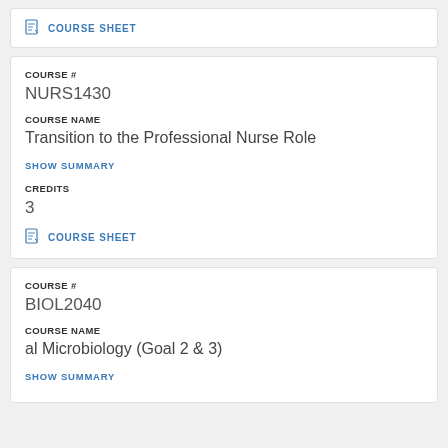COURSE SHEET
COURSE #
NURS1430
COURSE NAME
Transition to the Professional Nurse Role
SHOW SUMMARY
CREDITS
3
COURSE SHEET
COURSE #
BIOL2040
COURSE NAME
al Microbiology (Goal 2 & 3)
SHOW SUMMARY